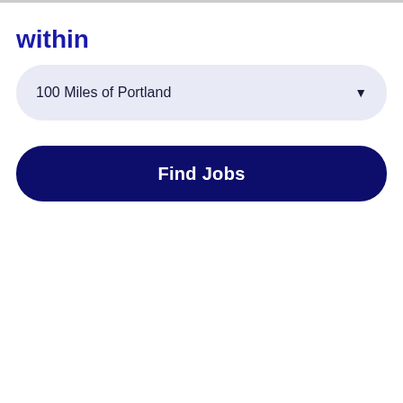within
100 Miles of Portland
Find Jobs